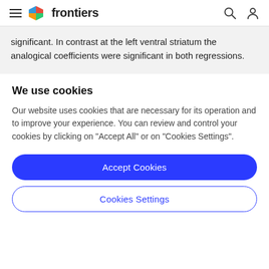frontiers
significant. In contrast at the left ventral striatum the analogical coefficients were significant in both regressions.
We use cookies
Our website uses cookies that are necessary for its operation and to improve your experience. You can review and control your cookies by clicking on "Accept All" or on "Cookies Settings".
Accept Cookies
Cookies Settings